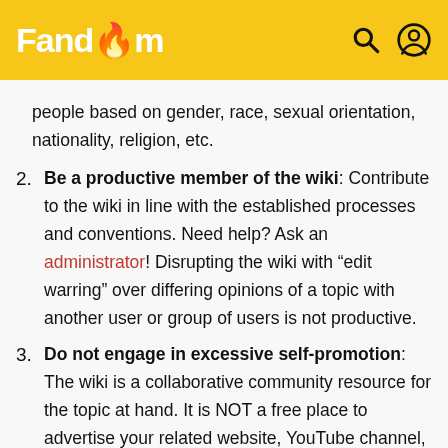Fandom
people based on gender, race, sexual orientation, nationality, religion, etc.
Be a productive member of the wiki: Contribute to the wiki in line with the established processes and conventions. Need help? Ask an administrator! Disrupting the wiki with “edit warring” over differing opinions of a topic with another user or group of users is not productive.
Do not engage in excessive self-promotion: The wiki is a collaborative community resource for the topic at hand. It is NOT a free place to advertise your related website, YouTube channel, blog, social media account, etc. Have a question about whether your link would be welcome? Ask an administrator!